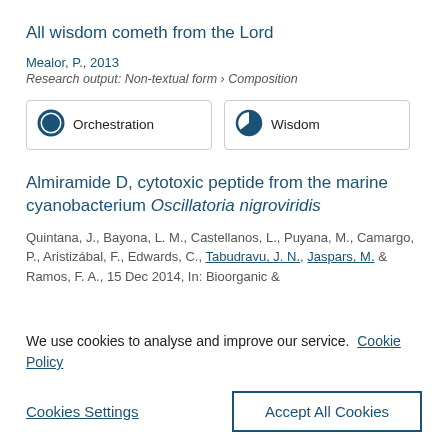All wisdom cometh from the Lord
Mealor, P., 2013
Research output: Non-textual form › Composition
[Figure (infographic): Two badge/pill elements: one labeled 'Orchestration' with a blue circle icon (100% filled), one labeled 'Wisdom' with a blue circle icon (approximately 60% filled)]
Almiramide D, cytotoxic peptide from the marine cyanobacterium Oscillatoria nigroviridis
Quintana, J., Bayona, L. M., Castellanos, L., Puyana, M., Camargo, P., Aristizábal, F., Edwards, C., Tabudravu, J. N., Jaspars, M. & Ramos, F. A., 15 Dec 2014, In: Bioorganic &
We use cookies to analyse and improve our service.  Cookie Policy
Cookies Settings
Accept All Cookies